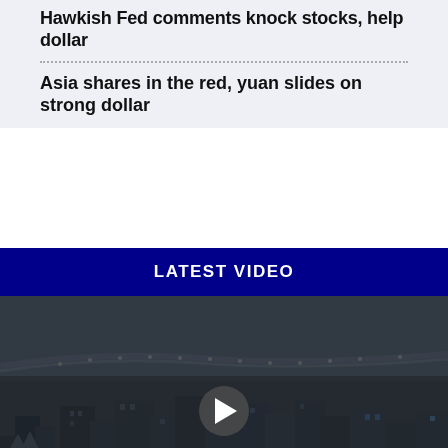Hawkish Fed comments knock stocks, help dollar
Asia shares in the red, yuan slides on strong dollar
LATEST VIDEO
[Figure (photo): Aerial view of a dense city with a bridge visible over water, with a video play button overlay indicating a video thumbnail]